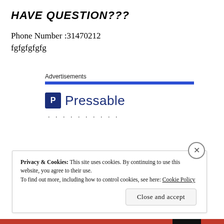HAVE QUESTION???
Phone Number :31470212
fgfgfgfgfg
[Figure (other): Pressable advertisement block with 'Advertisements' label, blue horizontal bar, Pressable logo (blue P icon and 'Pressable' text), and a row of dots]
Privacy & Cookies: This site uses cookies. By continuing to use this website, you agree to their use.
To find out more, including how to control cookies, see here: Cookie Policy
Close and accept